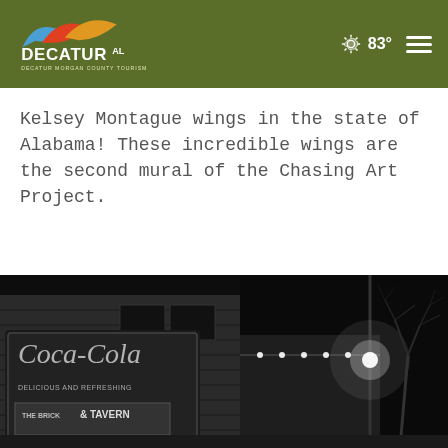DECATUR AL — DECATUR MORGAN COUNTY TOURISM | 83°
Kelsey Montague wings in the state of Alabama! These incredible wings are the second mural of the Chasing Art Project.
[Figure (photo): Black and white night photograph of a historic brick building with a Coca-Cola sign and The Brick Tavern sign, streetlights and bare trees visible]